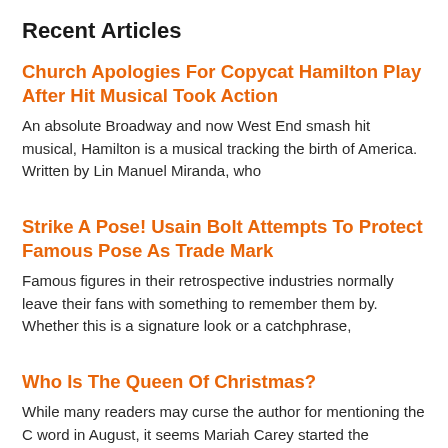Recent Articles
Church Apologies For Copycat Hamilton Play After Hit Musical Took Action
An absolute Broadway and now West End smash hit musical, Hamilton is a musical tracking the birth of America. Written by Lin Manuel Miranda, who
Strike A Pose! Usain Bolt Attempts To Protect Famous Pose As Trade Mark
Famous figures in their retrospective industries normally leave their fans with something to remember them by. Whether this is a signature look or a catchphrase,
Who Is The Queen Of Christmas?
While many readers may curse the author for mentioning the C word in August, it seems Mariah Carey started the festivities early by filing a